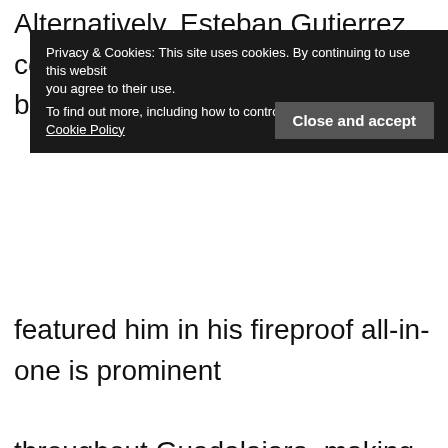Alternatively, Esteban Gutierrez could be (and still can b
[Figure (screenshot): Cookie consent banner with dark background. Text reads: 'Privacy & Cookies: This site uses cookies. By continuing to use this website you agree to their use. To find out more, including how to control cookies, see here: Cookie Policy'. A 'Close and accept' button appears in the bottom right.]
featured him in his fireproof all-in-one is prominent throughout Guadalajara, making him a very well known face in Mexico.  This is even more strange, given that Perez was born and raised in Guadalajara with Gutierrez being from Monterrey.

One would expect that driving for McLaren would up a drivers' reputation within their own nation, when in